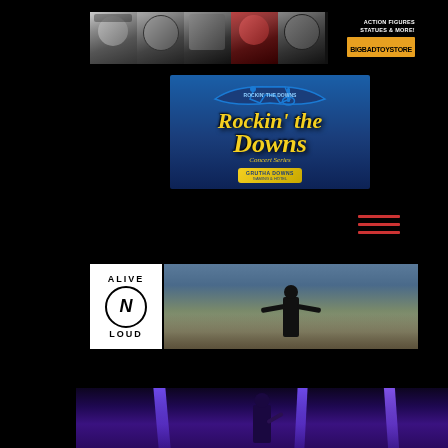[Figure (photo): BigBadToyStore banner ad with horror/metal character faces and text 'ACTION FIGURES STATUES & MORE! BIGBADTOYSTORE']
[Figure (photo): Rockin' the Downs Concert Series advertisement with blue background and stylized guitar logo with yellow script text]
[Figure (illustration): Three red horizontal lines, likely navigation menu icon]
[Figure (photo): Alive-N-Loud banner with logo and concert crowd photo showing performer on stage with arms outstretched]
[Figure (photo): Concert photo with purple stage lighting showing performer singing with microphone]